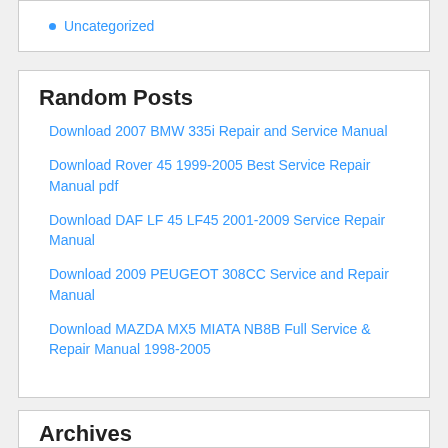Uncategorized
Random Posts
Download 2007 BMW 335i Repair and Service Manual
Download Rover 45 1999-2005 Best Service Repair Manual pdf
Download DAF LF 45 LF45 2001-2009 Service Repair Manual
Download 2009 PEUGEOT 308CC Service and Repair Manual
Download MAZDA MX5 MIATA NB8B Full Service & Repair Manual 1998-2005
Archives